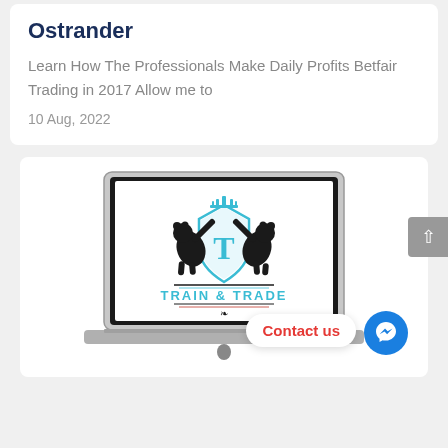Ostrander
Learn How The Professionals Make Daily Profits Betfair Trading in 2017 Allow me to
10 Aug, 2022
[Figure (logo): Train & Trade logo displayed on a laptop screen. The logo features two bear silhouettes flanking a shield with the letter T and a crown, with the text 'TRAIN & TRADE' below.]